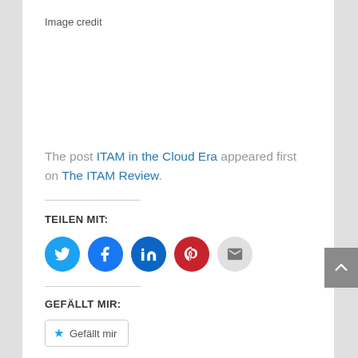Image credit
The post ITAM in the Cloud Era appeared first on The ITAM Review.
TEILEN MIT:
[Figure (infographic): Social sharing icons: Twitter (blue), Facebook (dark blue), LinkedIn (dark blue), Pinterest (red), Email (light gray)]
GEFÄLLT MIR:
Gefällt mir